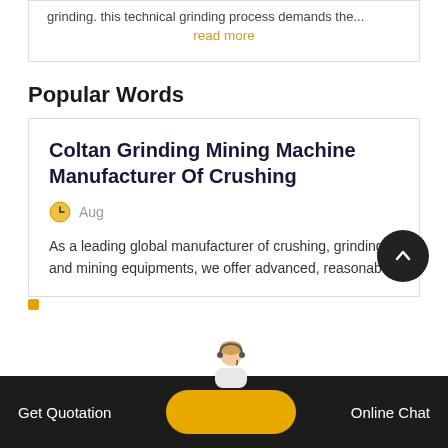grinding. this technical grinding process demands the...
read more
Popular Words
Coltan Grinding Mining Machine Manufacturer Of Crushing
Aug
As a leading global manufacturer of crushing, grinding and mining equipments, we offer advanced, reasonab...
Get Quotation
Online Chat